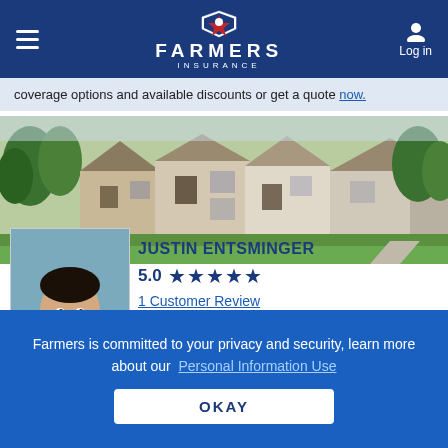Farmers Insurance — Log in
coverage options and available discounts or get a quote now.
[Figure (photo): Hero image of a suburban neighborhood showing multiple houses with green trees and manicured lawns]
[Figure (photo): Headshot photo of Justin Entsminger, a young man in a white shirt and tie, smiling against a blue-gray background]
JUSTIN ENTSMINGER
5.0  ★★★★★
1 Customer Review
Farmers Insurance Agent in Gahanna, OH
Farmers is committed to your privacy and security, learn more about our  Personal Information Use
OKAY